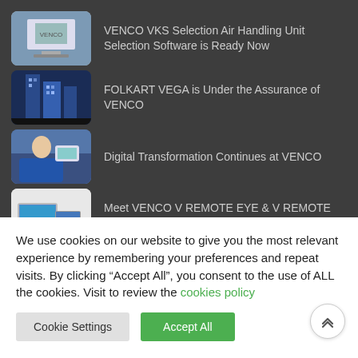VENCO VKS Selection Air Handling Unit Selection Software is Ready Now
FOLKART VEGA is Under the Assurance of VENCO
Digital Transformation Continues at VENCO
Meet VENCO V REMOTE EYE & V REMOTE PLUS Applications
We use cookies on our website to give you the most relevant experience by remembering your preferences and repeat visits. By clicking “Accept All”, you consent to the use of ALL the cookies. Visit to review the cookies policy